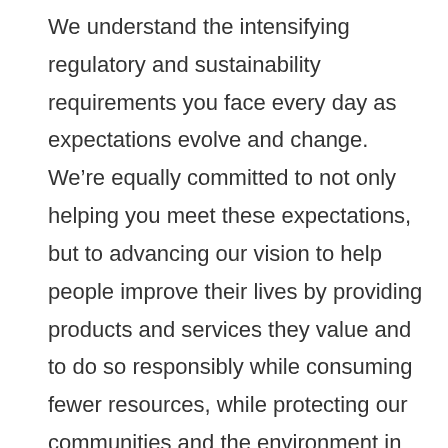We understand the intensifying regulatory and sustainability requirements you face every day as expectations evolve and change. We're equally committed to not only helping you meet these expectations, but to advancing our vision to help people improve their lives by providing products and services they value and to do so responsibly while consuming fewer resources, while protecting our communities and the environment in the process. From reducing emissions at our facilities to improving the energy efficiency of our products, we're 100% committed to this vision. If you're interested in glass that can support sustainable design or improve the